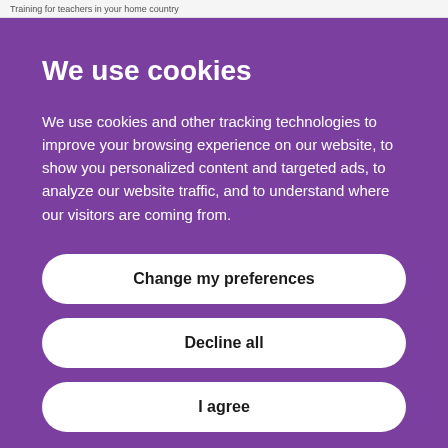Training for teachers in your home country
We use cookies
We use cookies and other tracking technologies to improve your browsing experience on our website, to show you personalized content and targeted ads, to analyze our website traffic, and to understand where our visitors are coming from.
Change my preferences
Decline all
I agree